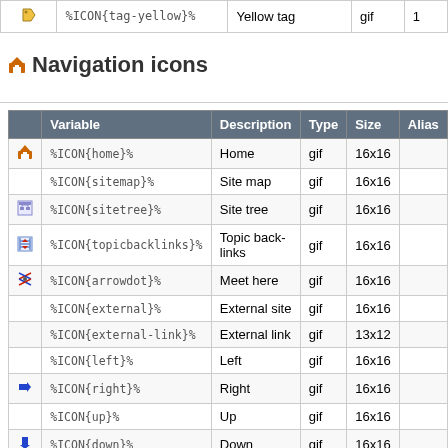|  | Variable | Description | Type | Size | Alias |
| --- | --- | --- | --- | --- | --- |
| [tag-yellow icon] | %ICON{tag-yellow}% | Yellow tag | gif | 1 |  |
Navigation icons
|  | Variable | Description | Type | Size | Alias |
| --- | --- | --- | --- | --- | --- |
| [home icon] | %ICON{home}% | Home | gif | 16x16 |  |
|  | %ICON{sitemap}% | Site map | gif | 16x16 |  |
| [sitetree icon] | %ICON{sitetree}% | Site tree | gif | 16x16 |  |
| [topicbacklinks icon] | %ICON{topicbacklinks}% | Topic backlinks | gif | 16x16 |  |
| [arrowdot icon] | %ICON{arrowdot}% | Meet here | gif | 16x16 |  |
|  | %ICON{external}% | External site | gif | 16x16 |  |
|  | %ICON{external-link}% | External link | gif | 13x12 |  |
|  | %ICON{left}% | Left | gif | 16x16 |  |
| [right icon] | %ICON{right}% | Right | gif | 16x16 |  |
|  | %ICON{up}% | Up | gif | 16x16 |  |
| [down icon] | %ICON{down}% | Down | gif | 16x16 |  |